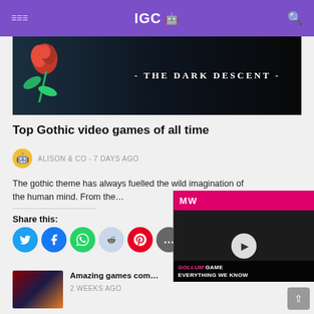IGC 🤖
[Figure (photo): Hero image showing 'THE DARK DESCENT' text with a rose on dark background]
Top Gothic video games of all time
ALISON & CO - 7 DAYS AGO
The gothic theme has always fuelled the wild imagination of the human mind. From the…
Share this:
[Figure (infographic): Social share buttons: Twitter, Facebook, WhatsApp, Reddit, Pinterest, More]
[Figure (screenshot): Video overlay: MW logo, play button, GOLLUM GAME EVERYTHING WE KNOW]
Amazing games com…
2 WEEKS AGO
The best Nintendo Switch new releases, according…